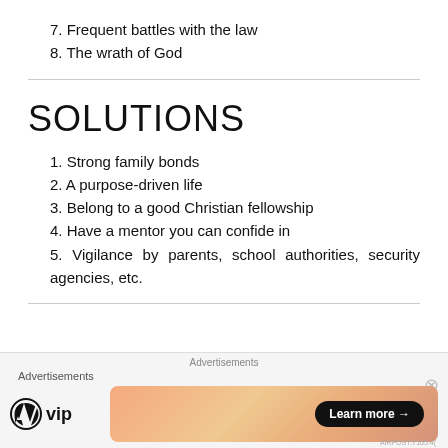7. Frequent battles with the law
8. The wrath of God
SOLUTIONS
1. Strong family bonds
2. A purpose-driven life
3. Belong to a good Christian fellowship
4. Have a mentor you can confide in
5. Vigilance by parents, school authorities, security agencies, etc.
Advertisements
[Figure (infographic): WordPress VIP advertisement banner with Learn more button]